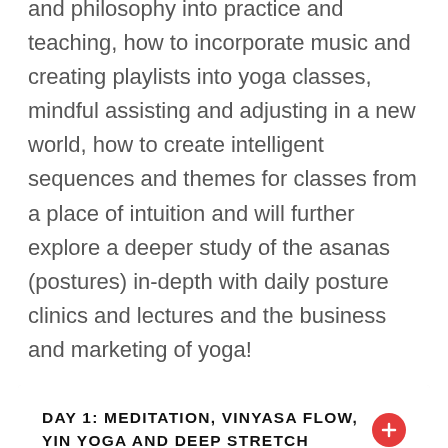and philosophy into practice and teaching, how to incorporate music and creating playlists into yoga classes, mindful assisting and adjusting in a new world, how to create intelligent sequences and themes for classes from a place of intuition and will further explore a deeper study of the asanas (postures) in-depth with daily posture clinics and lectures and the business and marketing of yoga!
DAY 1: MEDITATION, VINYASA FLOW, YIN YOGA AND DEEP STRETCH